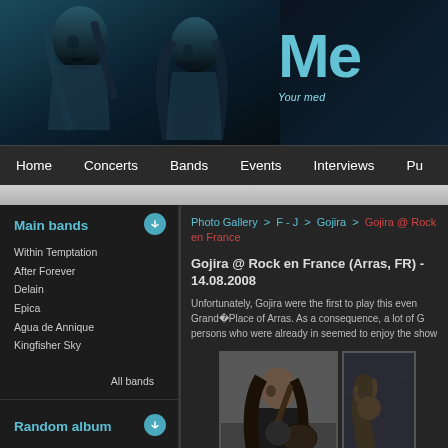[Figure (photo): Website header banner showing metal musicians performing on stage with teal/blue tint, and website logo 'ME' with tagline 'Your med']
Home   Concerts   Bands   Events   Interviews   Pu
Photo Gallery > F - J > Gojira > Gojira @ Rock en France
Gojira @ Rock en France (Arras, FR) - 14.08.2008
Unfortunately, Gojira were the first to play this event Grand�Place of Arras. As a consequence, a lot of G persons who were already in seemed to enjoy the show
Main bands
Within Temptation
After Forever
Delain
Epica
Agua de Annique
Kingfisher Sky
All bands
Random album
[Figure (photo): Thumbnail photo of a female metal singer with long blonde hair, performing on stage, wearing black]
[Figure (photo): Photo of a male metal guitarist with long dark hair, playing guitar on stage, wearing black t-shirt]
[Figure (photo): Partial photo of a performer making a hand gesture on stage]